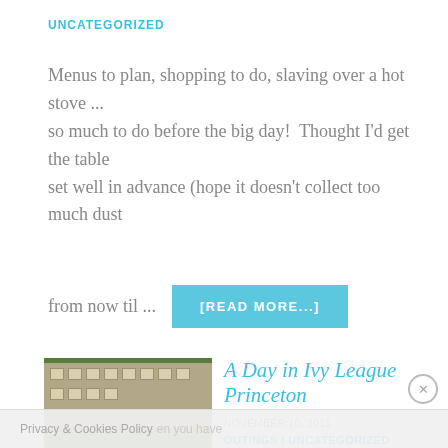UNCATEGORIZED
Menus to plan, shopping to do, slaving over a hot stove ... so much to do before the big day!  Thought I’d get the table set well in advance (hope it doesn’t collect too much dust
from now til ...
[READ MORE...]
A Day in Ivy League Princeton
NOVEMBER 10, 2011
OUTINGS | UNCATEGORIZED
[Figure (photo): Photo of an ivy-covered university building, likely Princeton University, with green ivy covering the stone facade, trees in background, and green lawn in foreground.]
Privacy & Cookies Policy
en you have